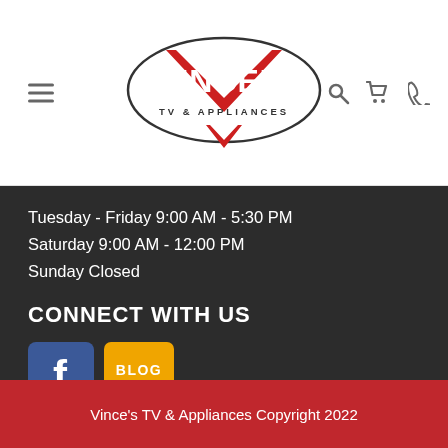Vince's TV & Appliances
Tuesday - Friday 9:00 AM - 5:30 PM
Saturday 9:00 AM - 12:00 PM
Sunday Closed
CONNECT WITH US
[Figure (logo): Facebook logo icon (blue square with white F)]
[Figure (logo): Blog icon (orange speech bubble with BLOG text)]
Vince's TV & Appliances Copyright 2022